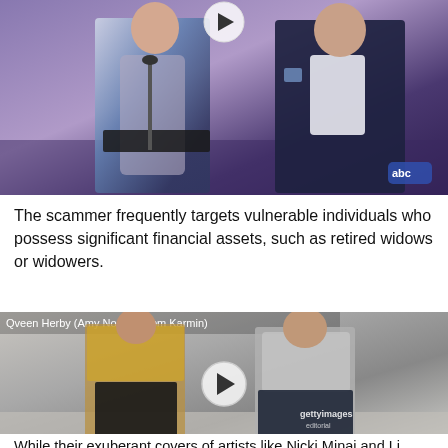[Figure (photo): Two people standing at a microphone on a stage with purple/blue background and ABC logo watermark. A play button overlay is visible at the top center.]
The scammer frequently targets vulnerable individuals who possess significant financial assets, such as retired widows or widowers.
[Figure (photo): Two people standing against a silver/grey background. Caption reads 'Qveen Herby (Amy Noonan from Karmin)'. Getty Images watermark visible. Play button overlay in center.]
While their exuberant covers of artists like Nicki Minaj and Li...